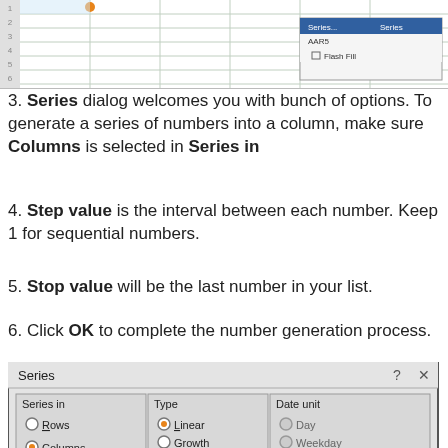[Figure (screenshot): Excel spreadsheet grid with orange dot marker and a Fill Series dropdown menu visible in the top right]
3. Series dialog welcomes you with bunch of options. To generate a series of numbers into a column, make sure Columns is selected in Series in
4. Step value is the interval between each number. Keep 1 for sequential numbers.
5. Stop value will be the last number in your list.
6. Click OK to complete the number generation process.
[Figure (screenshot): Excel Series dialog box showing Series in (Rows/Columns), Type (Linear selected), Date unit options, Trend checkbox, Step value: 1, Stop value: 750, OK and Cancel buttons. Numbered callout badges 3, 4, 5, 6 highlight key areas.]